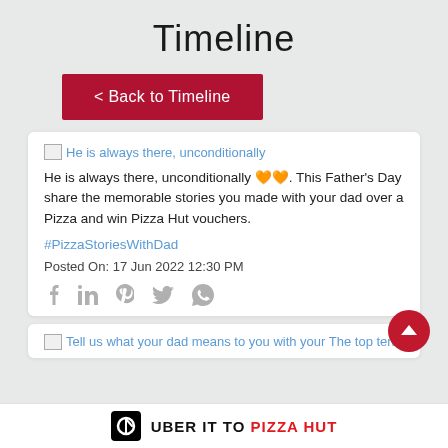Timeline
< Back to Timeline
He is always there, unconditionally
He is always there, unconditionally 🧡🧡. This Father's Day share the memorable stories you made with your dad over a Pizza and win Pizza Hut vouchers.
#PizzaStoriesWithDad
Posted On: 17 Jun 2022 12:30 PM
Tell us what your dad means to you with your The top ten
UBER IT TO PIZZA HUT